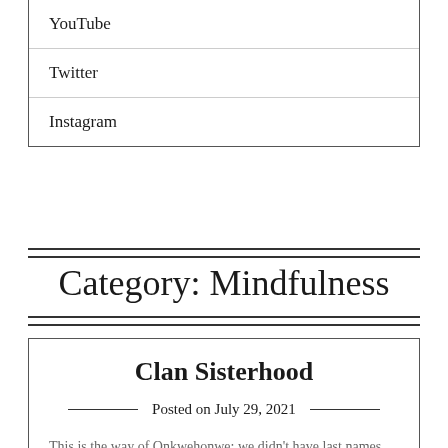YouTube
Twitter
Instagram
Category: Mindfulness
Clan Sisterhood
Posted on July 29, 2021
This is the way of Onkwehonwe; we didn't have last names... So